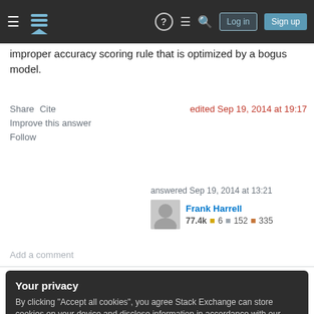Stack Exchange — Log in | Sign up
improper accuracy scoring rule that is optimized by a bogus model.
Share  Cite
Improve this answer
Follow
edited Sep 19, 2014 at 19:17
answered Sep 19, 2014 at 13:21
Frank Harrell
77.4k  6  152  335
Add a comment
Your privacy
By clicking "Accept all cookies", you agree Stack Exchange can store cookies on your device and disclose information in accordance with our Cookie Policy.
Accept all cookies   Customize settings
variable in operation. If you have a probabilistic